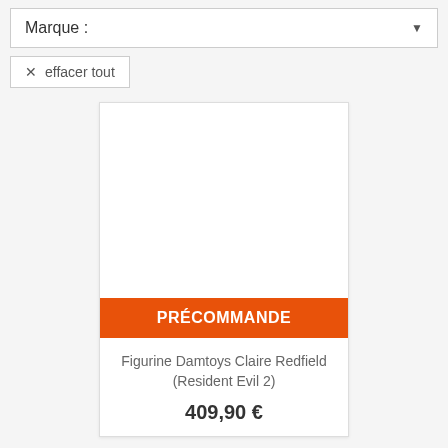Marque :
× effacer tout
[Figure (screenshot): Product card showing a white image area, an orange 'PRÉCOMMANDE' banner, product title 'Figurine Damtoys Claire Redfield (Resident Evil 2)', and price '409,90 €']
Figurine Damtoys Claire Redfield (Resident Evil 2)
409,90 €